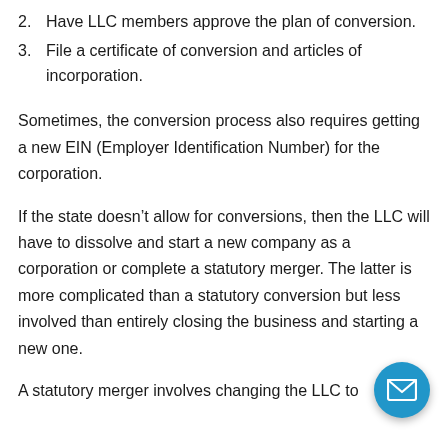2. Have LLC members approve the plan of conversion.
3. File a certificate of conversion and articles of incorporation.
Sometimes, the conversion process also requires getting a new EIN (Employer Identification Number) for the corporation.
If the state doesn’t allow for conversions, then the LLC will have to dissolve and start a new company as a corporation or complete a statutory merger. The latter is more complicated than a statutory conversion but less involved than entirely closing the business and starting a new one.
A statutory merger involves changing the LLC to